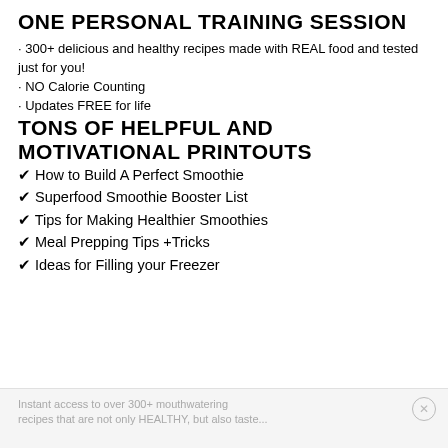ONE PERSONAL TRAINING SESSION
· 300+ delicious and healthy recipes made with REAL food and tested just for you!
· NO Calorie Counting
· Updates FREE for life
TONS OF HELPFUL AND MOTIVATIONAL PRINTOUTS
✔ How to Build A Perfect Smoothie
✔ Superfood Smoothie Booster List
✔ Tips for Making Healthier Smoothies
✔ Meal Prepping Tips +Tricks
✔ Ideas for Filling your Freezer
Instant access to over 300+ mouthwatering recipes that are not only HEALTHY, but also taste...